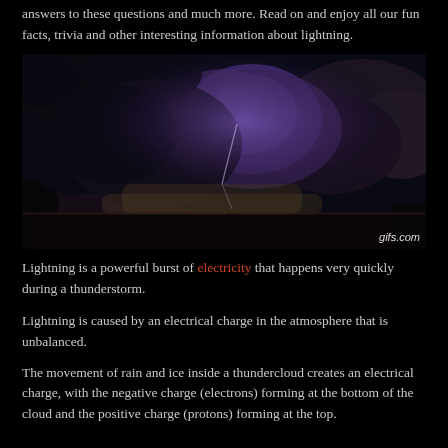answers to these questions and much more. Read on and enjoy all our fun facts, trivia and other interesting information about lightning.
[Figure (photo): A dramatic nighttime photo of thunderstorm clouds illuminated by lightning from within, with a dark foreground showing silhouettes of trees and land. Watermark reads 'gifs.com'.]
Lightning is a powerful burst of electricity that happens very quickly during a thunderstorm.
Lightning is caused by an electrical charge in the atmosphere that is unbalanced.
The movement of rain and ice inside a thundercloud creates an electrical charge, with the negative charge (electrons) forming at the bottom of the cloud and the positive charge (protons) forming at the top.